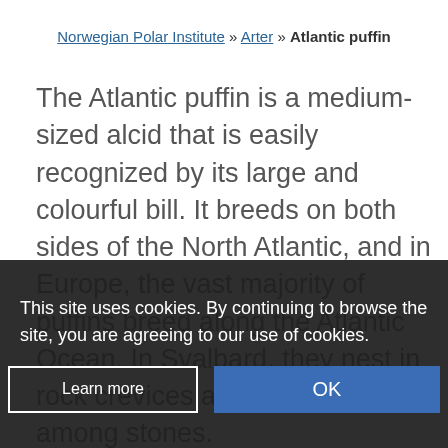Norwegian Polar Institute » Arter » Atlantic puffin
The Atlantic puffin is a medium-sized alcid that is easily recognized by its large and colourful bill. It breeds on both sides of the North Atlantic, and in Europe, the vast majority of puffins breed along the Atlantic Ocean. In Svalbard, they nest in rock crevices and in holes among stones.
This site uses cookies. By continuing to browse the site, you are agreeing to our use of cookies.
Learn more
OK